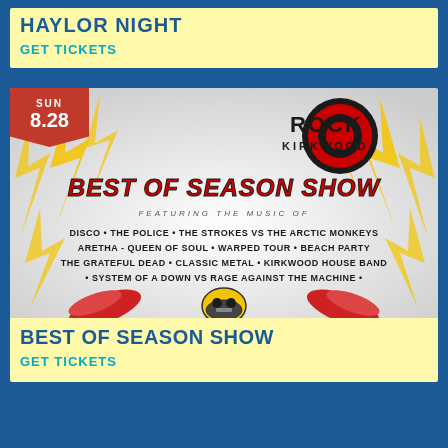HAYLOR NIGHT
GET TICKETS
[Figure (illustration): Promotional flyer for Best of Season Show on SUN 8.28. Features the ROCK KIRKWOOD branding with lightning bolt graphics. Text reads: BEST OF SEASON SHOW. FEATURING THE MUSIC OF: DISCO • THE POLICE • THE STROKES VS THE ARCTIC MONKEYS, ARETHA - QUEEN OF SOUL • WARPED TOUR • BEACH PARTY, THE GRATEFUL DEAD • CLASSIC METAL • KIRKWOOD HOUSE BAND, SYSTEM OF A DOWN VS RAGE AGAINST THE MACHINE]
BEST OF SEASON SHOW
GET TICKETS